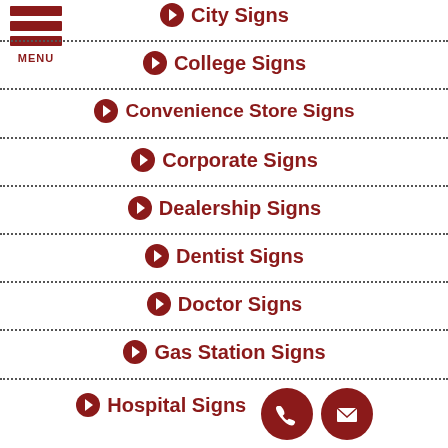[Figure (logo): Hamburger menu icon with three dark red horizontal bars and MENU label]
City Signs
College Signs
Convenience Store Signs
Corporate Signs
Dealership Signs
Dentist Signs
Doctor Signs
Gas Station Signs
Hospital Signs